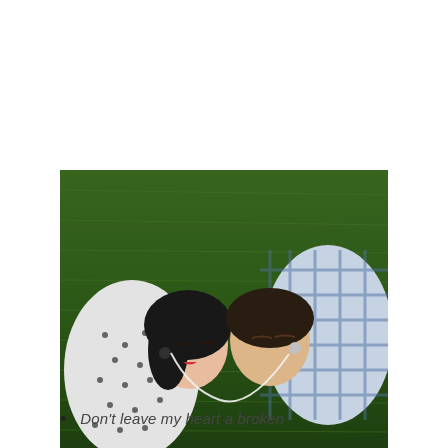[Figure (photo): A couple lying on green grass from a top-down perspective, heads touching, both with eyes closed. The woman on the left wears a white polka-dot shirt and has dark hair with a headphone in her ear. The man on the right wears a blue plaid shirt and also has a headphone. A white headphone cord connects them.]
Don't leave my heart a broken